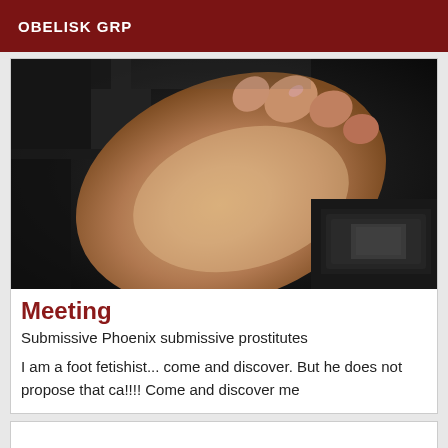OBELISK GRP
[Figure (photo): Close-up photo of a human foot sole held up toward the camera, with a dark room background showing a keyboard and other objects.]
Meeting
Submissive Phoenix submissive prostitutes
I am a foot fetishist... come and discover. But he does not propose that ca!!!! Come and discover me